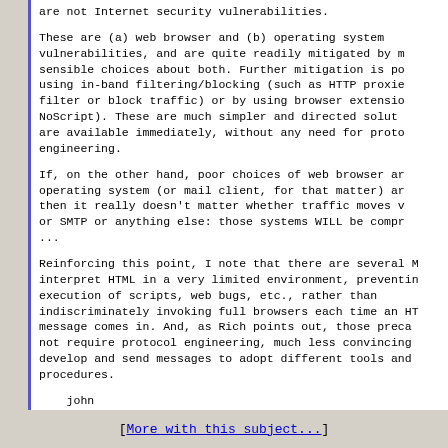are not Internet security vulnerabilities.

These are (a) web browser and (b) operating system vulnerabilities, and are quite readily mitigated by making sensible choices about both. Further mitigation is possible using in-band filtering/blocking (such as HTTP proxies that filter or block traffic) or by using browser extensions like NoScript). These are much simpler and directed solutions that are available immediately, without any need for protocol engineering.

If, on the other hand, poor choices of web browser and operating system (or mail client, for that matter) are made, then it really doesn't matter whether traffic moves via HTTP or SMTP or anything else: those systems WILL be compromised...

Reinforcing this point, I note that there are several MUAs that interpret HTML in a very limited environment, preventing execution of scripts, web bugs, etc., rather than indiscriminately invoking full browsers each time an HTML message comes in. And, as Rich points out, those precautions do not require protocol engineering, much less convincing people who develop and send messages to adopt different tools and procedures.

    john
[More with this subject...]